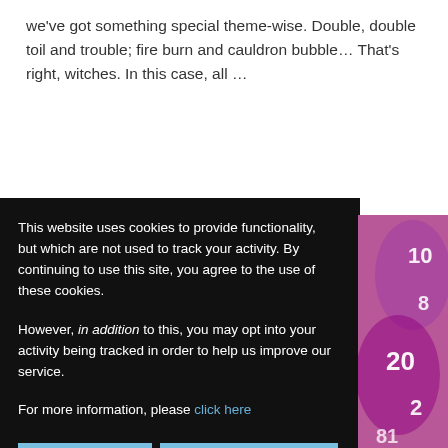we've got something special theme-wise. Double, double toil and trouble; fire burn and cauldron bubble... That's right, witches. In this case, all ...
READ MORE...
This website uses cookies to provide functionality, but which are not used to track your activity. By continuing to use this site, you agree to the use of these cookies.

However, in addition to this, you may opt into your activity being tracked in order to help us improve our service.

For more information, please click here
[Figure (photo): Close-up photo of purple/magenta polyhedral dice showing numbers 20, 10, 2, and 8]